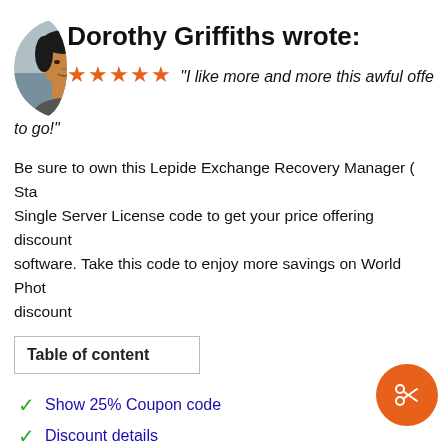[Figure (photo): Circular avatar photo of a woman (Dorothy Griffiths), Asian appearance, smiling slightly, dark hair, outdoor/blurred background.]
Dorothy Griffiths wrote:
★★★★★ "I like more and more this awful offe... to go!"
Be sure to own this Lepide Exchange Recovery Manager ( Sta... Single Server License code to get your price offering discount... software. Take this code to enjoy more savings on World Phot... discount
| Table of content |
| --- |
Show 25% Coupon code
Discount details
Lepide Exchange Recovery Manager ( Standard Edition )